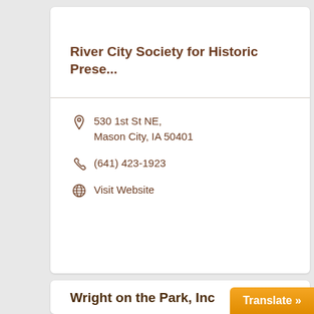River City Society for Historic Prese...
530 1st St NE, Mason City, IA 50401
(641) 423-1923
Visit Website
Wright on the Park, Inc